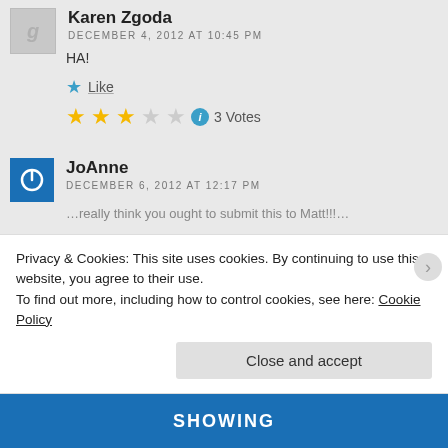Karen Zgoda
DECEMBER 4, 2012 AT 10:45 PM
HA!
Like
3 Votes
JoAnne
DECEMBER 6, 2012 AT 12:17 PM
Privacy & Cookies: This site uses cookies. By continuing to use this website, you agree to their use.
To find out more, including how to control cookies, see here: Cookie Policy
Close and accept